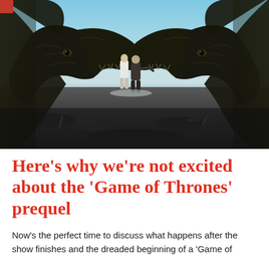[Figure (photo): Scene from Game of Thrones showing two people walking toward camera between two large dragons in a frosty, barren landscape under a blue sky. The dragons face each other with bones and rubble on the ground.]
Here’s why we’re not excited about the ‘Game of Thrones’ prequel
Now's the perfect time to discuss what happens after the show finishes and the dreaded beginning of a 'Game of